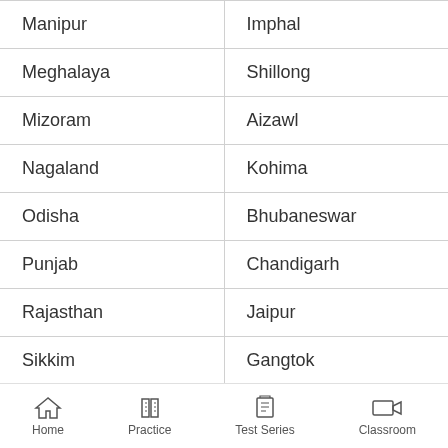| State | Capital |
| --- | --- |
| Manipur | Imphal |
| Meghalaya | Shillong |
| Mizoram | Aizawl |
| Nagaland | Kohima |
| Odisha | Bhubaneswar |
| Punjab | Chandigarh |
| Rajasthan | Jaipur |
| Sikkim | Gangtok |
| Tamil Nadu | Chennai |
| Telangana | Hyderabad |
Home | Practice | Test Series | Classroom